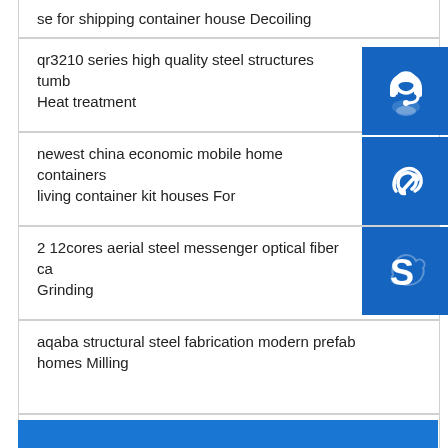se for shipping container house Decoiling
qr3210 series high quality steel structures tumbl Heat treatment
newest china economic mobile home containers living container kit houses For
2 12cores aerial steel messenger optical fiber ca Grinding
aqaba structural steel fabrication modern prefab homes Milling
insulated steel arch warehouse industrial steel building for sale boring